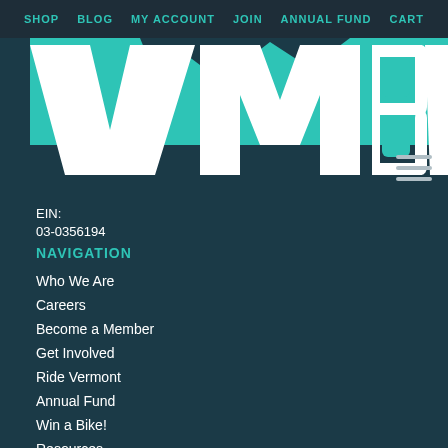SHOP | BLOG | MY ACCOUNT | JOIN | ANNUAL FUND | CART
[Figure (logo): VMBA logo - large white letters on teal/dark background]
EIN: 03-0356194
NAVIGATION
Who We Are
Careers
Become a Member
Get Involved
Ride Vermont
Annual Fund
Win a Bike!
Resources
Chapter Resource Library
Contact
SIGN UP FOR OUR NEWSLETTER
Email Address